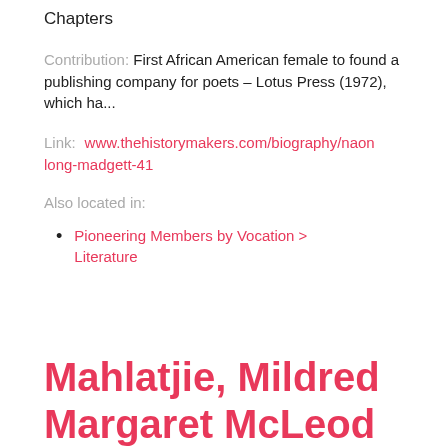Chapters
Contribution:  First African American female to found a publishing company for poets – Lotus Press (1972), which ha...
Link:  www.thehistorymakers.com/biography/naonlong-madgett-41
Also located in:
Pioneering Members by Vocation > Literature
Mahlatjie, Mildred Margaret McLeod